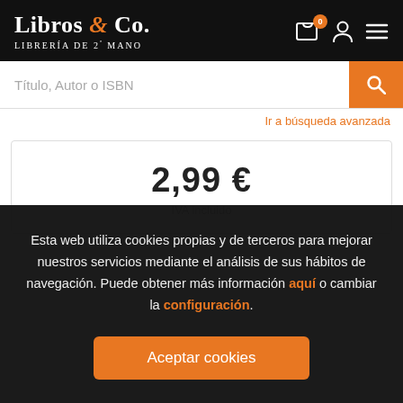Libros & Co. Librería de 2ª mano
Título, Autor o ISBN
Ir a búsqueda avanzada
2,99 €
IVA incluido
Esta web utiliza cookies propias y de terceros para mejorar nuestros servicios mediante el análisis de sus hábitos de navegación. Puede obtener más información aquí o cambiar la configuración.
Aceptar cookies